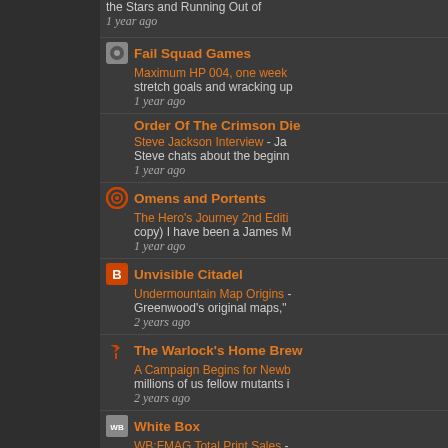the Stars and Running Out of
1 year ago
Fail Squad Games
Maximum HP 004, one week
stretch goals and wracking up
1 year ago
Order Of The Crimson Die
Steve Jackson Interview - Ja
Steve chats about the beginn
1 year ago
Omens and Portents
The Hero's Journey 2nd Editi
copy) I have been a James M
1 year ago
Unvisible Citadel
Undermountain Map Origins -
Greenwood's original maps,"
2 years ago
The Warlock's Home Brew
A Campaign Begins for Newb
millions of us fellow mutants i
2 years ago
White Box
WB:FMAG Total Print Sales -
from Amazon, July and Dece